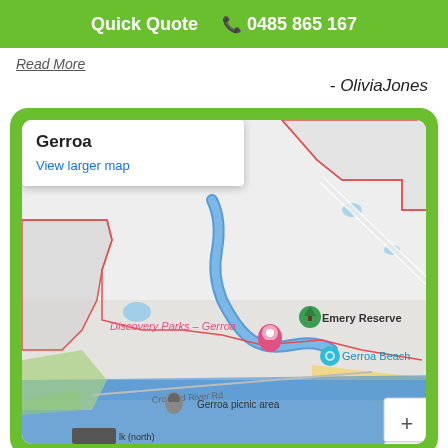Quick Quote  📞 0485 865 167
Read More
- OliviaJones
[Figure (map): Google Maps screenshot showing Gerroa area with Discovery Parks - Gerroa, Emery Reserve, Gerroa Beach, Gerroa picnic area, and Crooked River Rd labeled. Map popup shows 'Gerroa' and 'View larger map'.]